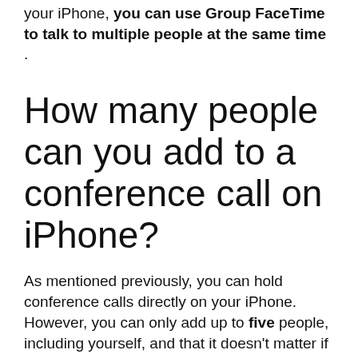your iPhone, you can use Group FaceTime to talk to multiple people at the same time .
How many people can you add to a conference call on iPhone?
As mentioned previously, you can hold conference calls directly on your iPhone. However, you can only add up to five people, including yourself, and that it doesn't matter if the participants are iPhone,